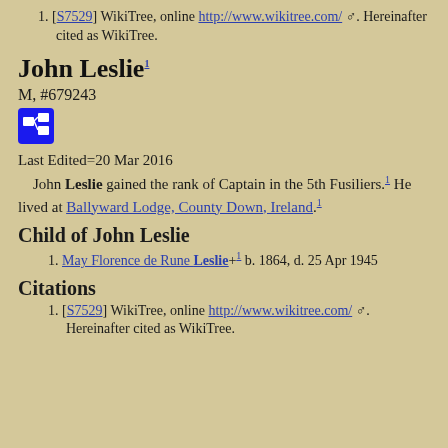[S7529] WikiTree, online http://www.wikitree.com/ ♂. Hereinafter cited as WikiTree.
John Leslie 1
M, #679243
Last Edited=20 Mar 2016
John Leslie gained the rank of Captain in the 5th Fusiliers.1 He lived at Ballyward Lodge, County Down, Ireland.1
Child of John Leslie
May Florence de Rune Leslie+1 b. 1864, d. 25 Apr 1945
Citations
[S7529] WikiTree, online http://www.wikitree.com/ ♂. Hereinafter cited as WikiTree.